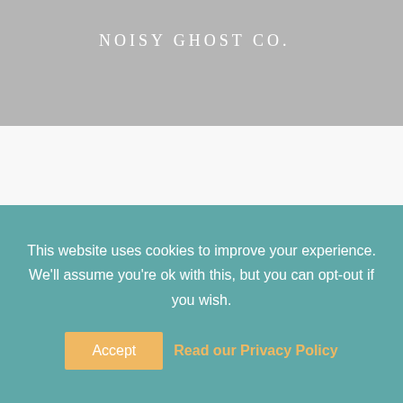NOISY GHOST CO.
[Figure (other): Loading spinner animation consisting of multiple grey circles arranged in a circular pattern, indicating page content is loading]
[Figure (other): Partial grey rounded rectangle visible at bottom right of content area]
This website uses cookies to improve your experience. We'll assume you're ok with this, but you can opt-out if you wish.
Accept  Read our Privacy Policy